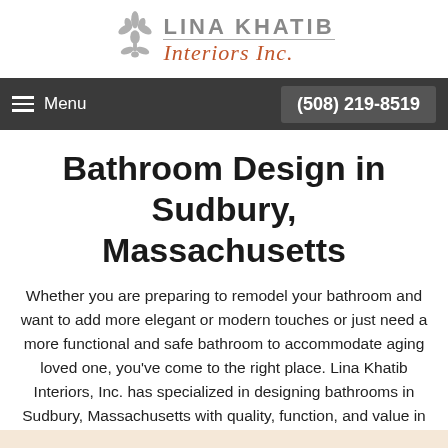[Figure (logo): Lina Khatib Interiors Inc. logo with fleur-de-lis emblem, gray uppercase LINA KHATIB text and orange italic Interiors Inc. script]
Menu  (508) 219-8519
Bathroom Design in Sudbury, Massachusetts
Whether you are preparing to remodel your bathroom and want to add more elegant or modern touches or just need a more functional and safe bathroom to accommodate aging loved one, you've come to the right place. Lina Khatib Interiors, Inc. has specialized in designing bathrooms in Sudbury, Massachusetts with quality, function, and value in mind for over 16 years.